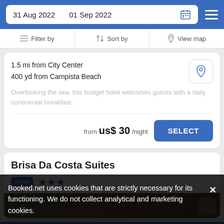31 Aug 2022  01 Sep 2022
Filter by  Sort by  View map
1.5 mi from City Center
400 yd from Campista Beach
Overlooking the sea, this budget hotel welcomes guests with a daily continental breakfast.
from  us$ 30/night  SELECT
Brisa Da Costa Suites
Hotel  ★★★
Booked.net uses cookies that are strictly necessary for its functioning. We do not collect analytical and marketing cookies.